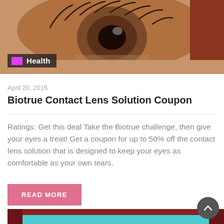[Figure (photo): Close-up photo of a human eye with eyelashes and skin, cropped at top of page]
Health
April 20, 2015
Biotrue Contact Lens Solution Coupon
Ratings: Get this deal Take the Biotrue challenge, then give your eyes a treat! Get a coupon for up to 50% off the contact lens solution that is designed to keep your eyes as comfortable as your own tears.
[Figure (photo): Partial photo at bottom showing a storefront or sign with red cursive text on teal/cyan background]